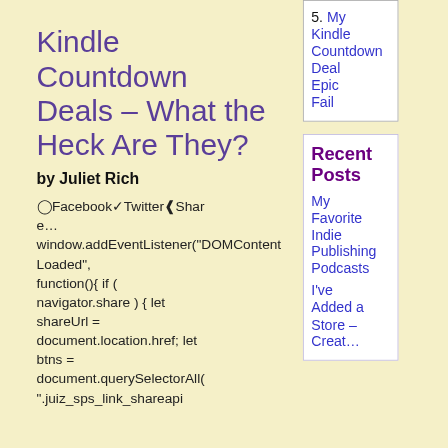Kindle Countdown Deals – What the Heck Are They?
by Juliet Rich
🔘Facebook🐦Twitter⬡Share…
window.addEventListener("DOMContentLoaded", function(){ if ( navigator.share ) { let shareUrl = document.location.href; let btns = document.querySelectorAll(".juiz_sps_link_shareapi
Recent Posts
My Kindle Countdown Deal Epic Fail
My Favorite Indie Publishing Podcasts
I've Added a Store – Creat…